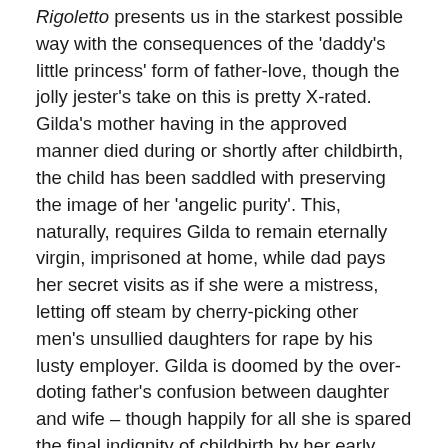Rigoletto presents us in the starkest possible way with the consequences of the 'daddy's little princess' form of father-love, though the jolly jester's take on this is pretty X-rated. Gilda's mother having in the approved manner died during or shortly after childbirth, the child has been saddled with preserving the image of her 'angelic purity'. This, naturally, requires Gilda to remain eternally virgin, imprisoned at home, while dad pays her secret visits as if she were a mistress, letting off steam by cherry-picking other men's unsullied daughters for rape by his lusty employer. Gilda is doomed by the over-doting father's confusion between daughter and wife – though happily for all she is spared the final indignity of childbirth by her early bath.
After all this, Tchaikovsky's Ma Larina comes as something of a homely relief, though she is frankly culpable for initiating her daughter's lifelong unhappiness. A professed devotee of the novels of Samuel Richardson, she has indoctrinated young Tatyana (a guileless little creature in provincial 1820s Russia) with the notion that their ideal destiny is...